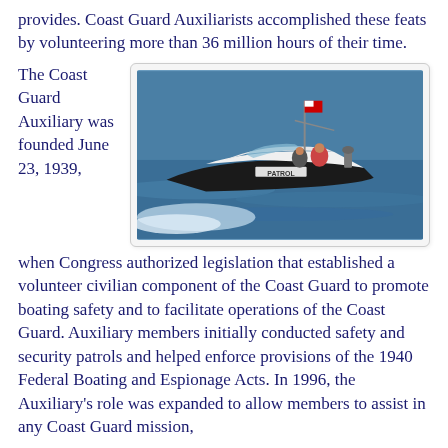provides. Coast Guard Auxiliarists accomplished these feats by volunteering more than 36 million hours of their time.
The Coast Guard Auxiliary was founded June 23, 1939,
[Figure (photo): A white Coast Guard patrol boat labeled 'PATROL' speeding across blue water with a flag at the top of its mast and crew aboard.]
when Congress authorized legislation that established a volunteer civilian component of the Coast Guard to promote boating safety and to facilitate operations of the Coast Guard. Auxiliary members initially conducted safety and security patrols and helped enforce provisions of the 1940 Federal Boating and Espionage Acts. In 1996, the Auxiliary's role was expanded to allow members to assist in any Coast Guard mission,